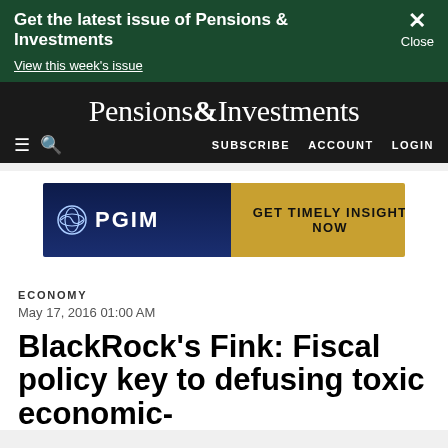Get the latest issue of Pensions & Investments
View this week's issue
Pensions&Investments
SUBSCRIBE  ACCOUNT  LOGIN
[Figure (other): PGIM advertisement banner with text GET TIMELY INSIGHT NOW]
ECONOMY
May 17, 2016 01:00 AM
BlackRock's Fink: Fiscal policy key to defusing toxic economic-political...